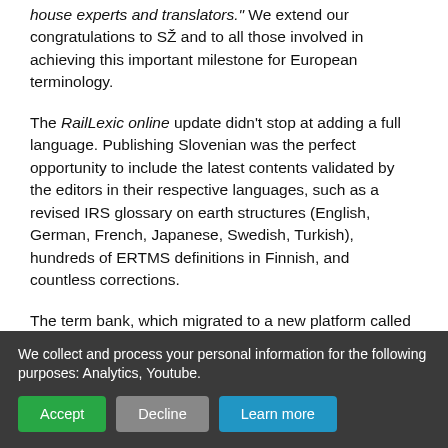house experts and translators." We extend our congratulations to SŽ and to all those involved in achieving this important milestone for European terminology.
The RailLexic online update didn't stop at adding a full language. Publishing Slovenian was the perfect opportunity to include the latest contents validated by the editors in their respective languages, such as a revised IRS glossary on earth structures (English, German, French, Japanese, Swedish, Turkish), hundreds of ERTMS definitions in Finnish, and countless corrections.
The term bank, which migrated to a new platform called TermWeb in July 2020, offers easier access for both users and editors. In another step forward, it will soon be
We collect and process your personal information for the following purposes: Analytics, Youtube.